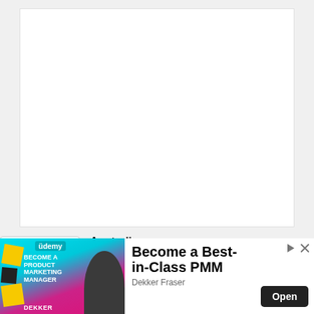[Figure (other): White rectangular content box (main content area placeholder), mostly empty white space with light border]
Student Visa Australia
[Figure (other): White rectangular lower content box, empty white space with light border]
[Figure (other): Collapse/expand button with a downward chevron (v) icon]
[Figure (screenshot): Udemy advertisement banner. Left side shows a colorful graphic with text 'BECOME A PRODUCT MARKETING MANAGER', person photo, and 'DEKKER' label. Right side on white background shows 'Become a Best-in-Class PMM' in large bold text, 'Dekker Fraser' author name, and an 'Open' button. There are play and close icons in the top right.]